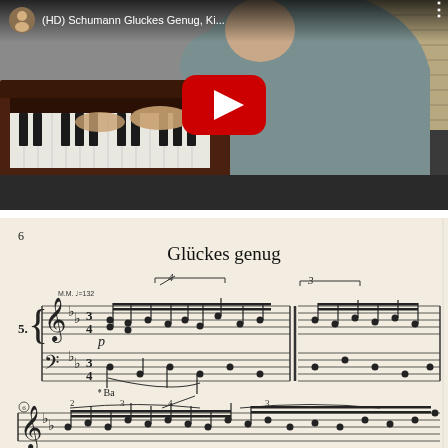[Figure (screenshot): YouTube video thumbnail showing a person playing an upright piano from behind, wearing a grey shirt. The video title reads '(HD) Schumann Gluckes Genug, Ki...' with a channel avatar on the left and a vertical dots menu on the right. A red YouTube play button is centered over the image.]
[Figure (photo): Sheet music for 'Glückes genug' (piece No. 5 from Schumann's Kinderszenen), showing page 6 with treble and bass clef staves, tempo marking M.M. = 132, dynamic marking p, and pedal marking Ba. The score shows the opening bars in a flowing lyrical style.]